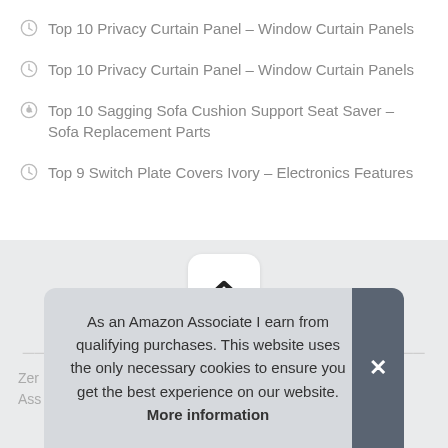Top 10 Privacy Curtain Panel – Window Curtain Panels
Top 10 Privacy Curtain Panel – Window Curtain Panels
Top 10 Sagging Sofa Cushion Support Seat Saver – Sofa Replacement Parts
Top 9 Switch Plate Covers Ivory – Electronics Features
[Figure (other): Scroll-to-top button with chevron up arrow on grey background]
Zer
Ass
As an Amazon Associate I earn from qualifying purchases. This website uses the only necessary cookies to ensure you get the best experience on our website. More information